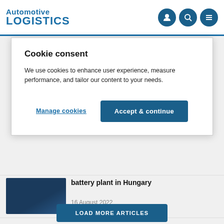Automotive LOGISTICS
Cookie consent
We use cookies to enhance user experience, measure performance, and tailor our content to your needs.
Manage cookies
Accept & continue
battery plant in Hungary
16 August 2022
LOAD MORE ARTICLES